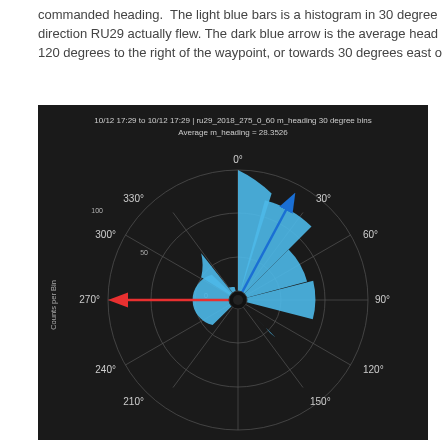commanded heading.  The light blue bars is a histogram in 30 degree direction RU29 actually flew. The dark blue arrow is the average head 120 degrees to the right of the waypoint, or towards 30 degrees east o
[Figure (other): Polar histogram (rose chart) on black background showing heading distribution for ru29_2018_275_0_60, 10/12 17:29 to 10/12 17:29. Light blue bars represent counts per bin in 30-degree heading bins. Dark blue arrow points to ~28 degrees (average m_heading = 28.3526). Red arrow points to ~270 degrees (commanded heading). Degree labels: 0, 30, 60, 90, 120, 150, 210, 240, 270, 300, 330. Y-axis label: Counts per Bin with gridlines at 0, 50, 100.]